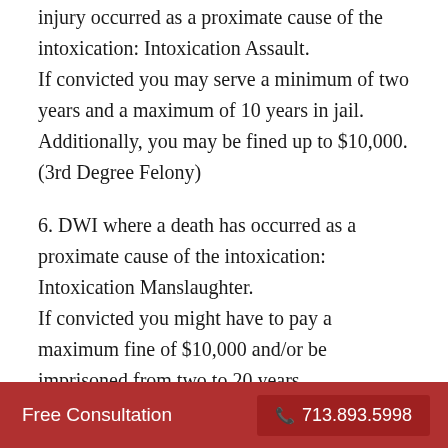injury occurred as a proximate cause of the intoxication: Intoxication Assault. If convicted you may serve a minimum of two years and a maximum of 10 years in jail. Additionally, you may be fined up to $10,000. (3rd Degree Felony)
6. DWI where a death has occurred as a proximate cause of the intoxication: Intoxication Manslaughter. If convicted you might have to pay a maximum fine of $10,000 and/or be imprisoned from two to 20 years
Free Consultation  713.893.5998